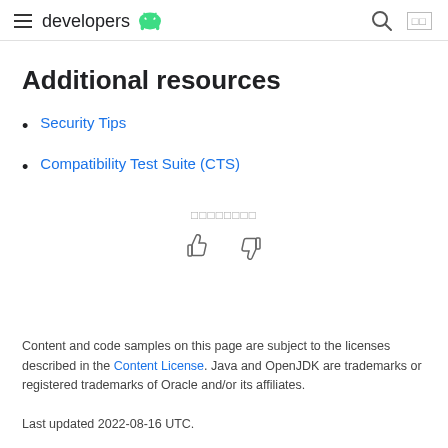developers
Additional resources
Security Tips
Compatibility Test Suite (CTS)
[Figure (illustration): Thumbs up and thumbs down feedback icons with a label above them (shown as placeholder characters)]
Content and code samples on this page are subject to the licenses described in the Content License. Java and OpenJDK are trademarks or registered trademarks of Oracle and/or its affiliates.

Last updated 2022-08-16 UTC.